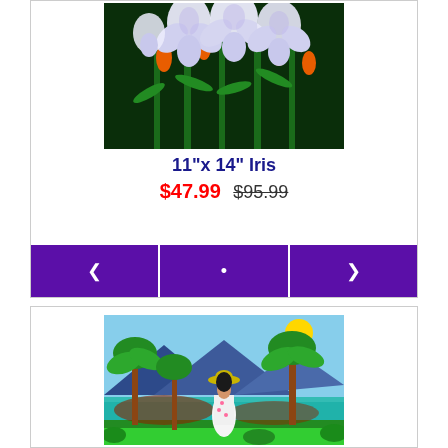[Figure (photo): Painting of white iris flowers with orange accents on dark green background]
11"x 14" Iris
$47.99  $95.99
[Figure (photo): Tropical scene painting with woman in white dress and yellow hat among palm trees near water with mountains]